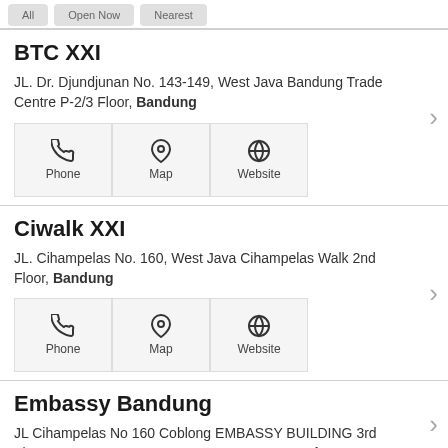[Figure (screenshot): Top strip with three grey buttons (partially visible)]
BTC XXI
JL. Dr. Djundjunan No. 143-149, West Java Bandung Trade Centre P-2/3 Floor, Bandung
[Figure (infographic): Three action buttons: Phone, Map, Website with icons]
Ciwalk XXI
JL. Cihampelas No. 160, West Java Cihampelas Walk 2nd Floor, Bandung
[Figure (infographic): Three action buttons: Phone, Map, Website with icons]
Embassy Bandung
JL Cihampelas No 160 Coblong EMBASSY BUILDING 3rd Floor CIHAMPELAS WALK SL03A, 40131, Bandung